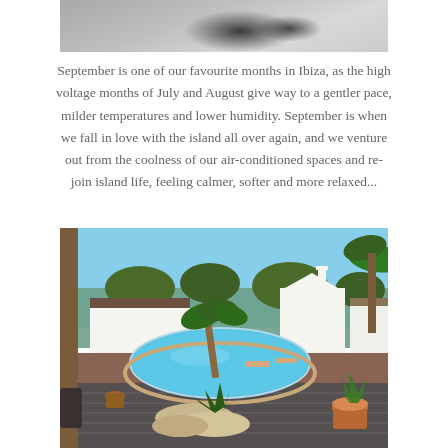[Figure (photo): Partial top image showing shadows on a light surface — appears to be a road or path with tree shadows]
September is one of our favourite months in Ibiza, as the high voltage months of July and August give way to a gentler pace, milder temperatures and lower humidity. September is when we fall in love with the island all over again, and we venture out from the coolness of our air-conditioned spaces and re-join island life, feeling calmer, softer and more relaxed...
[Figure (photo): Outdoor pool area of an Ibiza villa with white buildings, palm trees, tropical plants, wooden decking, and rock features under a clear blue sky]